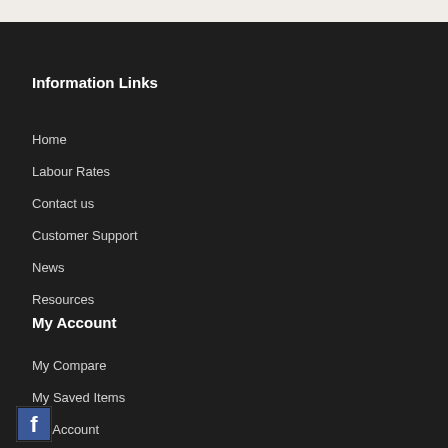Information Links
Home
Labour Rates
Contact us
Customer Support
News
Resources
My Account
My Compare
My Saved Items
My Account
[Figure (logo): Facebook icon logo, white 'f' on blue square background]